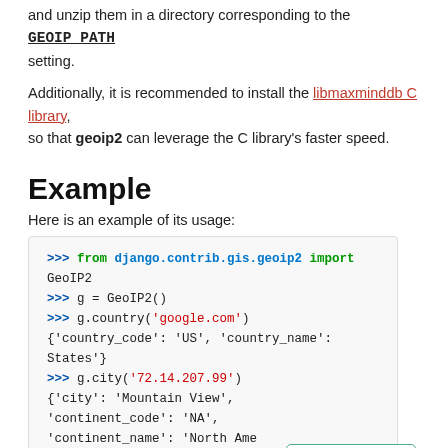and unzip them in a directory corresponding to the GEOIP_PATH setting.
Additionally, it is recommended to install the libmaxminddb C library, so that geoip2 can leverage the C library's faster speed.
Example
Here is an example of its usage:
[Figure (screenshot): Code block showing Python interactive session using django.contrib.gis.geoip2 GeoIP2 library, with g.country and g.city calls. Sidebar shows Getting Help button, Language: en, Documentation version: 4.0]